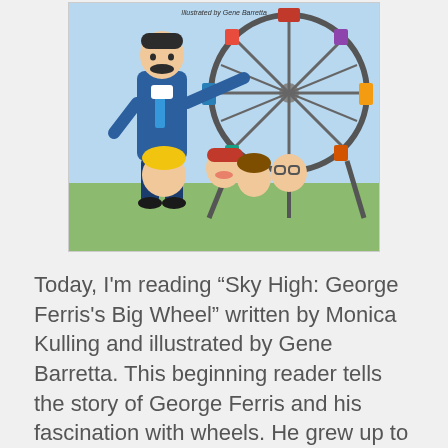[Figure (illustration): Book cover illustration of 'Sky High: George Ferris's Big Wheel' showing a tall man with a mustache in a blue suit gesturing toward a Ferris wheel, surrounded by children looking up at him. Text at top reads 'Illustrated by Gene Barretta'.]
Today, I'm reading “Sky High: George Ferris's Big Wheel” written by Monica Kulling and illustrated by Gene Barretta. This beginning reader tells the story of George Ferris and his fascination with wheels. He grew up to be an engineer and ended up designing and building the biggest “wheel”